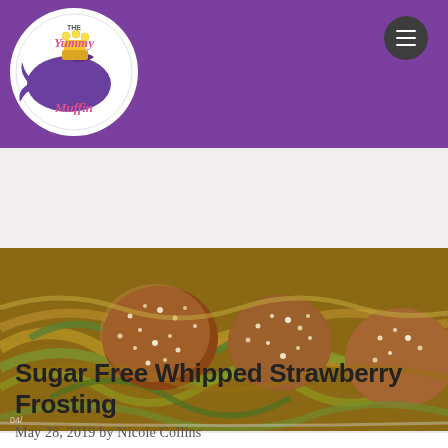[Figure (logo): The Yummy Muffin logo - circular logo with purple whale and muffin text on white background, set against purple header bar with social media icons (Facebook, Pinterest, Instagram) and dark hamburger menu button]
[Figure (photo): Food photo showing breaded/crusted meatballs or similar dish covered in grated parmesan cheese, served over noodles or zucchini spirals with vegetables]
Sugar Free Whipped Strawberry Frosting
May 28, 2019 by Nicole Collins